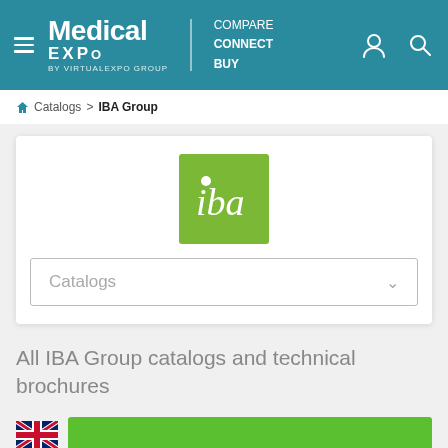Medical EXPO by VIRTUALEXPO GROUP | COMPARE CONNECT BUY
Catalogs > IBA Group
[Figure (logo): IBA Group green square logo with white italic 'iba' text]
Catalogs
All IBA Group catalogs and technical brochures
[Figure (illustration): UK flag icon and green banner starting to appear at bottom]